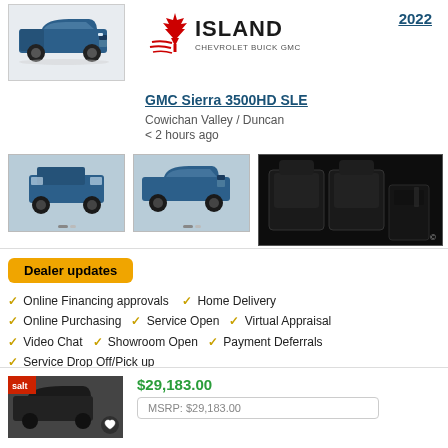[Figure (photo): Blue GMC Sierra 3500HD pickup truck side view]
[Figure (logo): Island Chevrolet Buick GMC EV dealer logo with maple leaf]
2022
GMC Sierra 3500HD SLE
Cowichan Valley / Duncan
< 2 hours ago
[Figure (photo): Blue GMC Sierra rear 3/4 view thumbnail]
[Figure (photo): Blue GMC Sierra front 3/4 view thumbnail]
[Figure (photo): Vehicle interior dark cabin view thumbnail]
Dealer updates
Online Financing approvals  Home Delivery
Online Purchasing  Service Open  Virtual Appraisal
Video Chat  Showroom Open  Payment Deferrals
Service Drop Off/Pick up
[Figure (photo): Dark vehicle partially visible in bottom listing]
$29,183.00
MSRP: $29,183.00